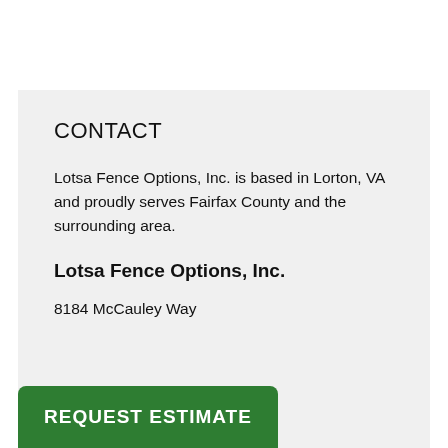CONTACT
Lotsa Fence Options, Inc. is based in Lorton, VA and proudly serves Fairfax County and the surrounding area.
Lotsa Fence Options, Inc.
8184 McCauley Way
REQUEST ESTIMATE